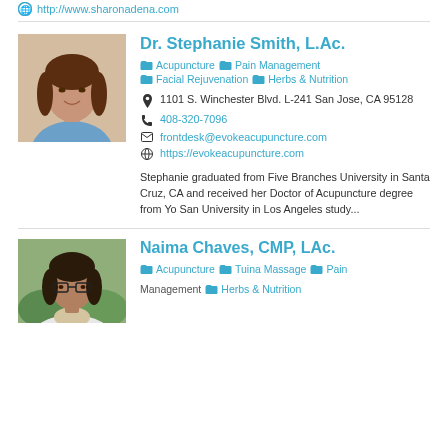http://www.sharonadena.com
[Figure (photo): Profile photo of Dr. Stephanie Smith, a woman with long brown hair wearing a blue top]
Dr. Stephanie Smith, L.Ac.
Acupuncture  Pain Management  Facial Rejuvenation  Herbs & Nutrition
1101 S. Winchester Blvd. L-241 San Jose, CA 95128
408-320-7096
frontdesk@evokeacupuncture.com
https://evokeacupuncture.com
Stephanie graduated from Five Branches University in Santa Cruz, CA and received her Doctor of Acupuncture degree from Yo San University in Los Angeles study...
[Figure (photo): Profile photo of Naima Chaves, a woman with dark hair wearing glasses and a light scarf]
Naima Chaves, CMP, LAc.
Acupuncture  Tuina Massage  Pain Management  Herbs & Nutrition